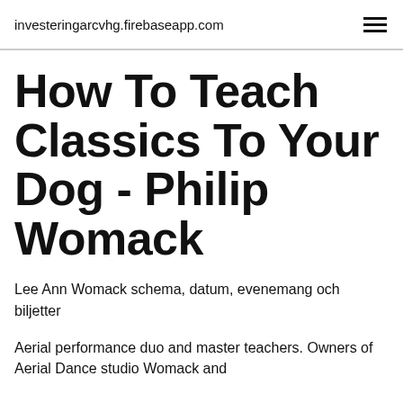investeringarcvhg.firebaseapp.com
How To Teach Classics To Your Dog - Philip Womack
Lee Ann Womack schema, datum, evenemang och biljetter
Aerial performance duo and master teachers. Owners of Aerial Dance studio Womack and